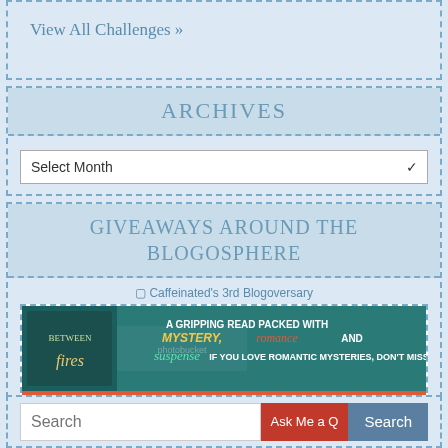View All Challenges »
Archives
Select Month
Giveaways Around the Blogosphere
Caffeinated's 3rd Blogoversary
[Figure (photo): Book advertisement banner: 'A gripping read packed with MYSTERY, romance AND suspense. IF YOU LOVE ROMANTIC MYSTERIES, DON'T MISS THIS! Grab your copy now!']
Search
Ask Me a Q
Search